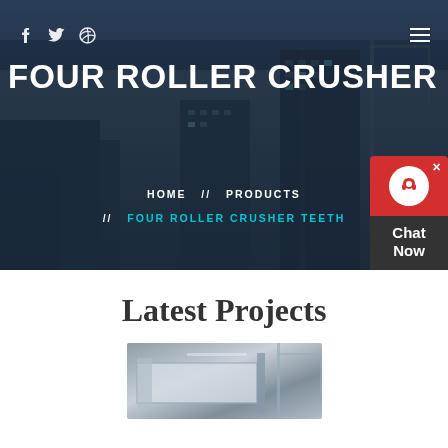FOUR ROLLER CRUSHER TEETH
HOME // PRODUCTS // FOUR ROLLER CRUSHER TEETH
[Figure (photo): Chat Now widget with red background and headset icon]
Latest Projects
[Figure (photo): Industrial machinery / crusher equipment in a factory setting]